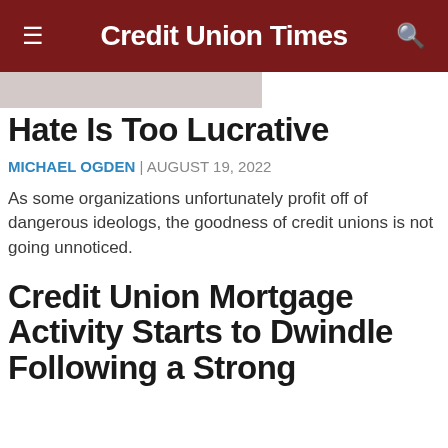Credit Union Times
[Figure (other): Gray image placeholder banner]
Hate Is Too Lucrative
MICHAEL OGDEN | AUGUST 19, 2022
As some organizations unfortunately profit off of dangerous ideologs, the goodness of credit unions is not going unnoticed.
Credit Union Mortgage Activity Starts to Dwindle Following a Strong